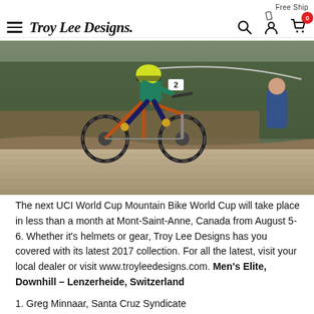Free Ship
[Figure (logo): Troy Lee Designs logo with hamburger menu, search, user, and cart icons]
[Figure (photo): Mountain bike rider airborne over a jump at a UCI World Cup downhill race, wearing number 2, in a wooded venue with spectators in background]
The next UCI World Cup Mountain Bike World Cup will take place in less than a month at Mont-Saint-Anne, Canada from August 5-6. Whether it's helmets or gear, Troy Lee Designs has you covered with its latest 2017 collection. For all the latest, visit your local dealer or visit www.troyleedesigns.com. Men's Elite, Downhill – Lenzerheide, Switzerland
1. Greg Minnaar, Santa Cruz Syndicate